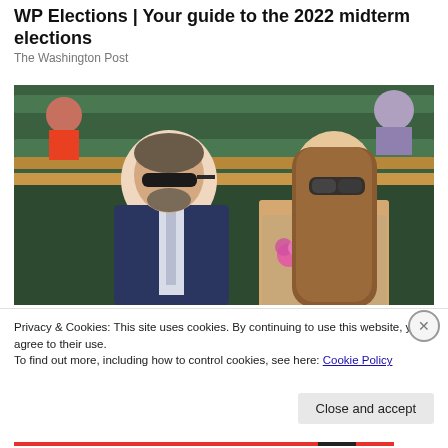WP Elections | Your guide to the 2022 midterm elections
The Washington Post
[Figure (photo): Two people seated in stadium/arena stands, man on left wearing dark suit and sunglasses, woman on right with long brown hair and sunglasses, wearing floral outfit]
Privacy & Cookies: This site uses cookies. By continuing to use this website, you agree to their use.
To find out more, including how to control cookies, see here: Cookie Policy
Close and accept